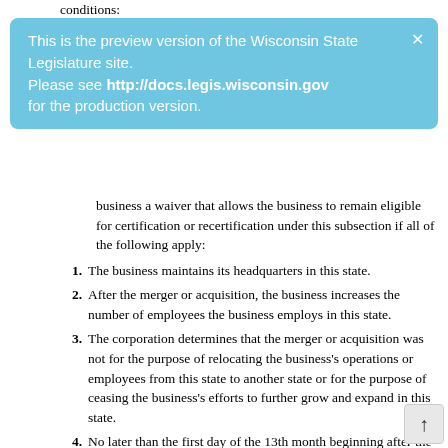conditions:
This is the preview version of the Wisconsin State Legislature site. Please see http://docs.legis.wisconsin.gov for the production version.
business a waiver that allows the business to remain eligible for certification or recertification under this subsection if all of the following apply:
1. The business maintains its headquarters in this state.
2. After the merger or acquisition, the business increases the number of employees the business employs in this state.
3. The corporation determines that the merger or acquisition was not for the purpose of relocating the business's operations or employees from this state to another state or for the purpose of ceasing the business's efforts to further grow and expand in this state.
4. No later than the first day of the 13th month beginning after the date of the merger or acquisition, at least 51 percent of the employees employed by the business are employed in this state.
(f) It has the potential for increasing jobs in this state, increasing capital investment in this state, or both, and any of the following apply: